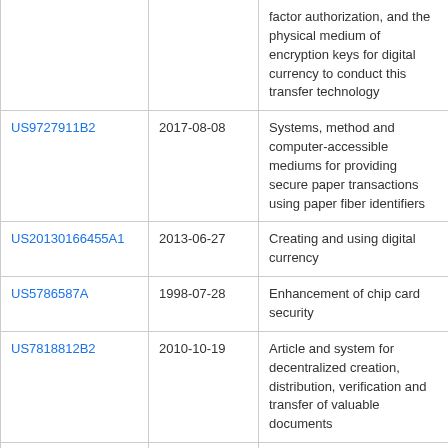|  |  | factor authorization, and the physical medium of encryption keys for digital currency to conduct this transfer technology |
| US9727911B2 | 2017-08-08 | Systems, method and computer-accessible mediums for providing secure paper transactions using paper fiber identifiers |
| US20130166455A1 | 2013-06-27 | Creating and using digital currency |
| US5786587A | 1998-07-28 | Enhancement of chip card security |
| US7818812B2 | 2010-10-19 | Article and system for decentralized creation, distribution, verification and transfer of valuable documents |
| US10713650B2 | 2020-07-14 | System, method, article |